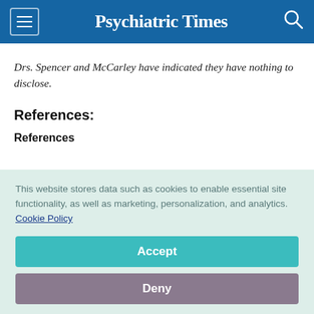Psychiatric Times
Drs. Spencer and McCarley have indicated they have nothing to disclose.
References:
References
This website stores data such as cookies to enable essential site functionality, as well as marketing, personalization, and analytics. Cookie Policy
Accept
Deny